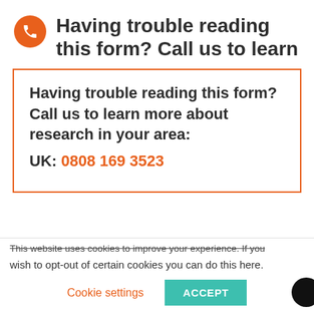Having trouble reading this form? Call us to learn
Having trouble reading this form? Call us to learn more about research in your area:
UK: 0808 169 3523
This website uses cookies to improve your experience. If you wish to opt-out of certain cookies you can do this here.
Cookie settings | ACCEPT